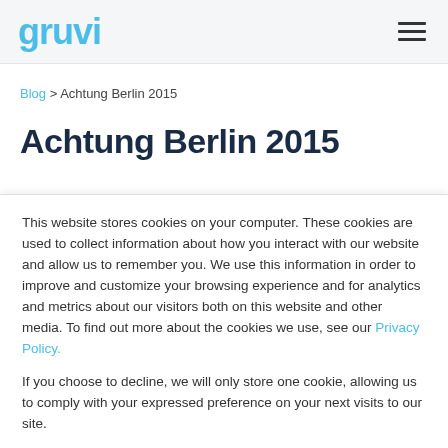gruvi
Blog > Achtung Berlin 2015
Achtung Berlin 2015
This website stores cookies on your computer. These cookies are used to collect information about how you interact with our website and allow us to remember you. We use this information in order to improve and customize your browsing experience and for analytics and metrics about our visitors both on this website and other media. To find out more about the cookies we use, see our Privacy Policy.

If you choose to decline, we will only store one cookie, allowing us to comply with your expressed preference on your next visits to our site.